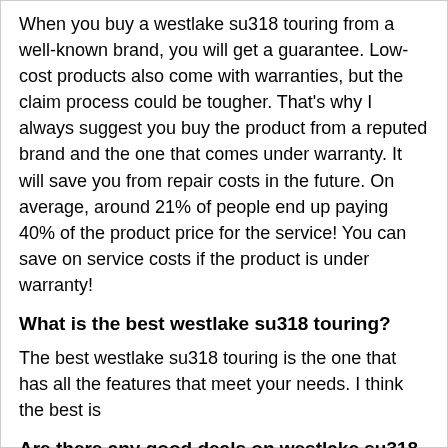When you buy a westlake su318 touring from a well-known brand, you will get a guarantee. Low-cost products also come with warranties, but the claim process could be tougher. That's why I always suggest you buy the product from a reputed brand and the one that comes under warranty. It will save you from repair costs in the future. On average, around 21% of people end up paying 40% of the product price for the service! You can save on service costs if the product is under warranty!
What is the best westlake su318 touring?
The best westlake su318 touring is the one that has all the features that meet your needs. I think the best is
Are there any good deals on westlake su318 touring?
In the offline market, you won't find many offers. However, I have chosen the best westlake su318 touring and have added links to Amazon which has deals and deals running on a regular basis.